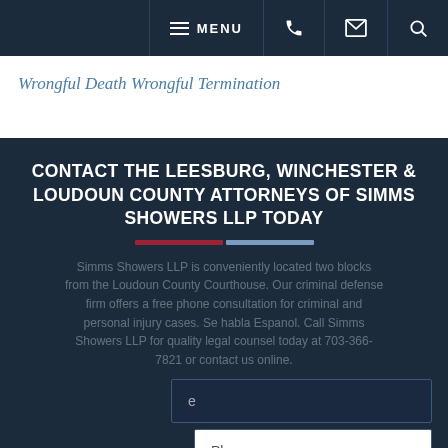MENU [phone] [email] [search]
Wrongful Death
Wrongful Termination
CONTACT THE LEESBURG, WINCHESTER & LOUDOUN COUNTY ATTORNEYS OF SIMMS SHOWERS LLP TODAY
Simms Showers LLP is conveniently located two blocks from the Loudoun County Courthouse. Our criminal defense firm offers a free phone consultation for criminal and personal injury cases. Se habla Espanol. Call Simms Showers LLP for quality legal counsel today at 703-366-7821 or contact us online.
Name
Phone